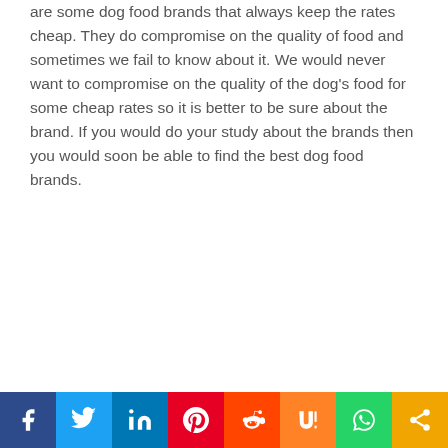are some dog food brands that always keep the rates cheap. They do compromise on the quality of food and sometimes we fail to know about it. We would never want to compromise on the quality of the dog's food for some cheap rates so it is better to be sure about the brand. If you would do your study about the brands then you would soon be able to find the best dog food brands.
[Figure (infographic): Social media sharing bar with icons for Facebook, Twitter, LinkedIn, Pinterest, Reddit, Mix, WhatsApp, and More (share)]